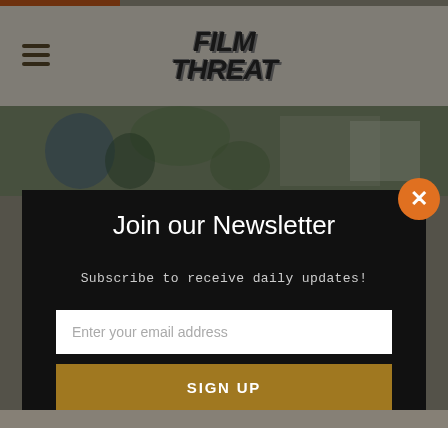[Figure (screenshot): Film Threat website screenshot showing navigation header with hamburger menu and Film Threat logo, hero image with plants/outdoor scene, and a newsletter signup modal overlay with email input and sign up button]
Join our Newsletter
Subscribe to receive daily updates!
Enter your email address
SIGN UP